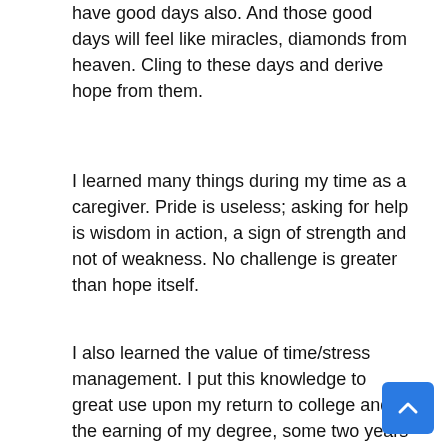have good days also. And those good days will feel like miracles, diamonds from heaven. Cling to these days and derive hope from them.
I learned many things during my time as a caregiver. Pride is useless; asking for help is wisdom in action, a sign of strength and not of weakness. No challenge is greater than hope itself.
I also learned the value of time/stress management. I put this knowledge to great use upon my return to college and the earning of my degree, some two years after Heather's diagnosis. By that time, Heather had undergone surgery, radiation and mesothelioma chemotherapy.? Despite the enormous odds she faced, she managed to beat this terrible disease.? Today, over seven years later, she remains healthy and cancer free.